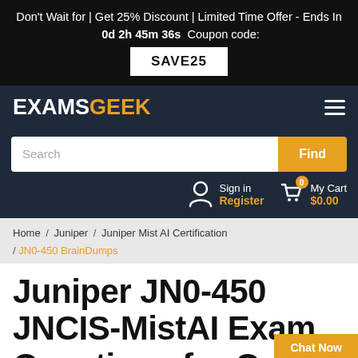Don't Wait for | Get 25% Discount | Limited Time Offer - Ends In 0d 2h 45m 36s Coupon code: SAVE25
[Figure (logo): ExamsGeek logo with EXAMS in white and GEEK in orange on dark navy background]
[Figure (infographic): Search bar with text input and Find button, then Sign in / Register and My Cart $0.00 section]
Home / Juniper / Juniper Mist AI Certification / JN0-450 BrainDumps
Juniper JN0-450 JNCIS-MistAI Exam Questions for Quick P...